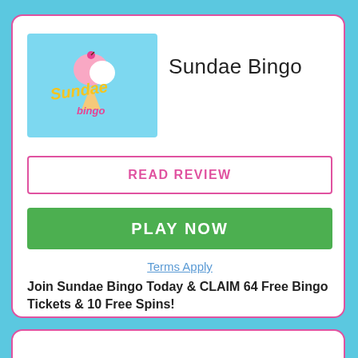[Figure (logo): Sundae Bingo logo on light blue background with ice cream sundae illustration and colorful text]
Sundae Bingo
READ REVIEW
PLAY NOW
Terms Apply
Join Sundae Bingo Today & CLAIM 64 Free Bingo Tickets & 10 Free Spins!
Cracker Bingo